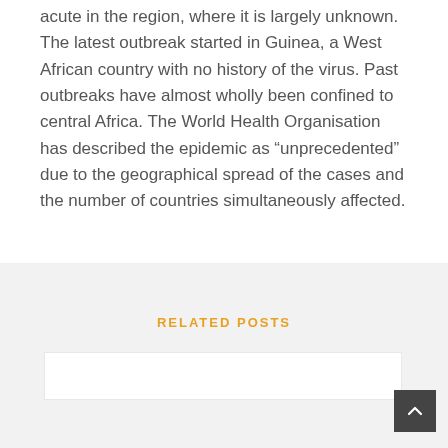acute in the region, where it is largely unknown. The latest outbreak started in Guinea, a West African country with no history of the virus. Past outbreaks have almost wholly been confined to central Africa. The World Health Organisation has described the epidemic as “unprecedented” due to the geographical spread of the cases and the number of countries simultaneously affected.
RELATED POSTS